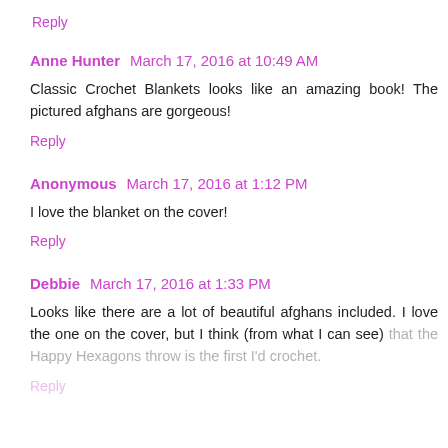Reply
Anne Hunter  March 17, 2016 at 10:49 AM
Classic Crochet Blankets looks like an amazing book! The pictured afghans are gorgeous!
Reply
Anonymous  March 17, 2016 at 1:12 PM
I love the blanket on the cover!
Reply
Debbie  March 17, 2016 at 1:33 PM
Looks like there are a lot of beautiful afghans included. I love the one on the cover, but I think (from what I can see) that the Happy Hexagons throw is the first I'd crochet.
Reply